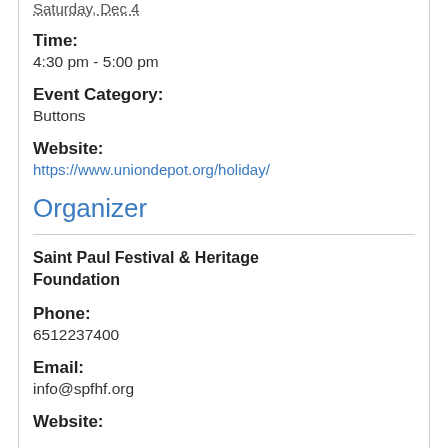Saturday, Dec 4
Time:
4:30 pm - 5:00 pm
Event Category:
Buttons
Website:
https://www.uniondepot.org/holiday/
Organizer
Saint Paul Festival & Heritage Foundation
Phone:
6512237400
Email:
info@spfhf.org
Website: